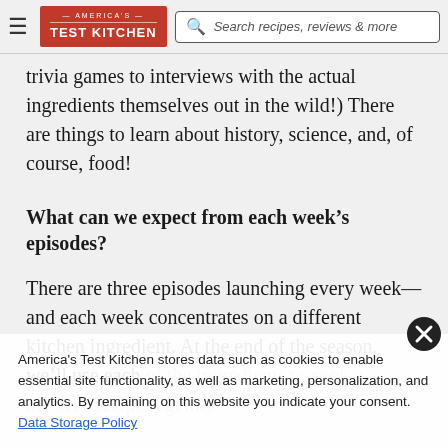America's Test Kitchen | Search recipes, reviews & more
trivia games to interviews with the actual ingredients themselves out in the wild!) There are things to learn about history, science, and, of course, food!
What can we expect from each week’s episodes?
There are three episodes launching every week—and each week concentrates on a different kitchen ingredient. At the end of the season, we’ll use each of the ingredients to cook a mystery recipe together
America’s Test Kitchen stores data such as cookies to enable essential site functionality, as well as marketing, personalization, and analytics. By remaining on this website you indicate your consent. Data Storage Policy